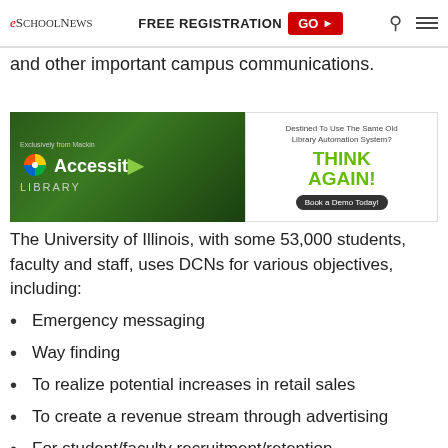eSchoolNews | FREE REGISTRATION GO | Search | Menu
and other important campus communications.
[Figure (photo): Advertisement banner for Accessit Library by Mackin, showing students working with text 'Exclusively from Mackin Accessit Library' on green background, and right side showing 'Destined To Use The Same Old Library Automation System? THINK AGAIN! Book a Demo Today!']
The University of Illinois, with some 53,000 students, faculty and staff, uses DCNs for various objectives, including:
Emergency messaging
Way finding
To realize potential increases in retail sales
To create a revenue stream through advertising
For student/faculty recruitment/retention